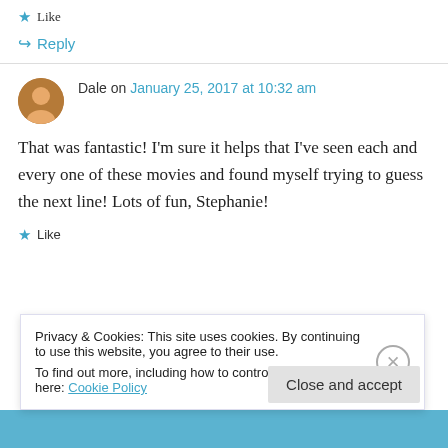★ Like
↳ Reply
Dale on January 25, 2017 at 10:32 am
That was fantastic! I'm sure it helps that I've seen each and every one of these movies and found myself trying to guess the next line! Lots of fun, Stephanie!
★ Like
Privacy & Cookies: This site uses cookies. By continuing to use this website, you agree to their use. To find out more, including how to control cookies, see here: Cookie Policy
Close and accept